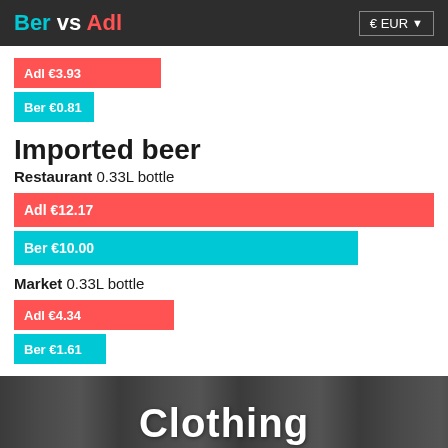Ber vs Adl  € EUR
[Figure (bar-chart): Domestic beer (top bars)]
Imported beer
Restaurant 0.33L bottle
[Figure (bar-chart): Imported beer - Restaurant 0.33L bottle]
Market 0.33L bottle
[Figure (bar-chart): Imported beer - Market 0.33L bottle]
Clothing